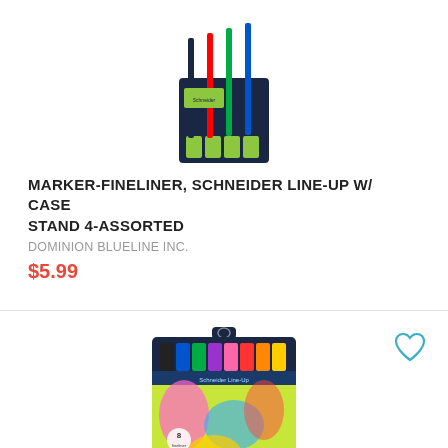[Figure (photo): Schneider Line-Up fineliner set with 4 assorted colors in a dark navy case stand, shown partially at top of page]
MARKER-FINELINER, SCHNEIDER LINE-UP W/ CASE STAND 4-ASSORTED
DOMINION BLUELINE INC.
$5.99
[Figure (photo): Schneider Line-Up fineliner set with 8 assorted colors in a dark navy case with colorful artistic packaging, pens fanned out at top]